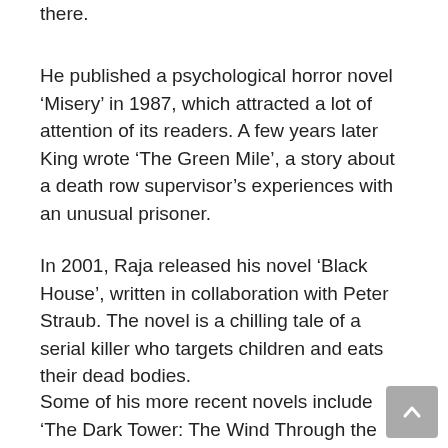there.
He published a psychological horror novel ‘Misery’ in 1987, which attracted a lot of attention of its readers. A few years later King wrote ‘The Green Mile’, a story about a death row supervisor’s experiences with an unusual prisoner.
In 2001, Raja released his novel ‘Black House’, written in collaboration with Peter Straub. The novel is a chilling tale of a serial killer who targets children and eats their dead bodies.
Some of his more recent novels include ‘The Dark Tower: The Wind Through the Keyhole’ (2012), ‘Joyland’ (2013) and ‘Mr. Mercedes’